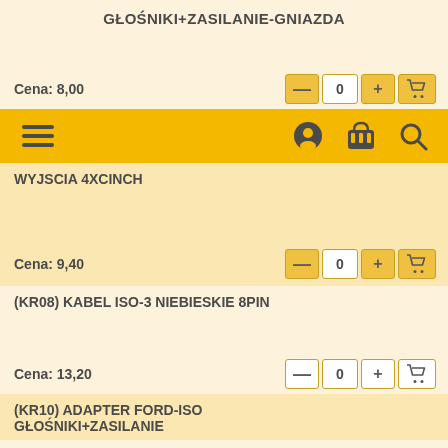GŁOŚNIKI+ZASILANIE-GNIAZDA
Cena: 8,00
[Figure (screenshot): Navigation bar with hamburger menu icon on the left and user, basket, search icons on the right]
WYJSCIA 4XCINCH
Cena: 9,40
(KR08) KABEL ISO-3 NIEBIESKIE 8PIN
Cena: 13,20
(KR10) ADAPTER FORD-ISO GŁOŚNIKI+ZASILANIE